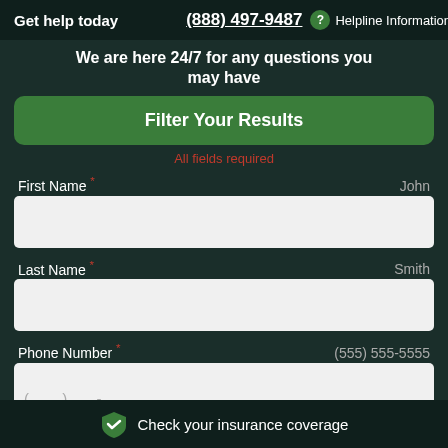Get help today (888) 497-9487 ? Helpline Information
We are here 24/7 for any questions you may have
Filter Your Results
All fields required
First Name * John
Last Name * Smith
Phone Number * (555) 555-5555
Check your insurance coverage